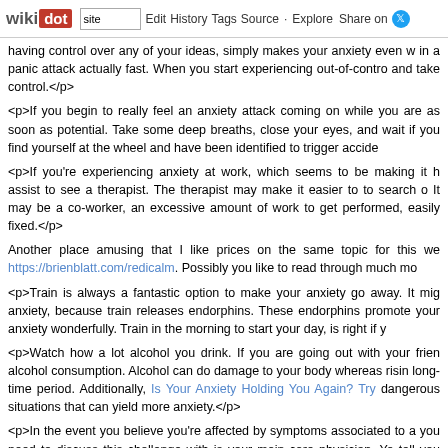wikidot | site Edit History Tags Source Explore Share on [Twitter]
having control over any of your ideas, simply makes your anxiety even w in a panic attack actually fast. When you start experiencing out-of-contro and take control.</p>
<p>If you begin to really feel an anxiety attack coming on while you are as soon as potential. Take some deep breaths, close your eyes, and wait if you find yourself at the wheel and have been identified to trigger accide
<p>If you're experiencing anxiety at work, which seems to be making it h assist to see a therapist. The therapist may make it easier to to search o It may be a co-worker, an excessive amount of work to get performed, easily fixed.</p>
Another place amusing that I like prices on the same topic for this we https://brienblatt.com/redicalm. Possibly you like to read through much mo
<p>Train is always a fantastic option to make your anxiety go away. It mig anxiety, because train releases endorphins. These endorphins promote your anxiety wonderfully. Train in the morning to start your day, is right if y
<p>Watch how a lot alcohol you drink. If you are going out with your frien alcohol consumption. Alcohol can do damage to your body whereas risin long-time period. Additionally, Is Your Anxiety Holding You Again? Try dangerous situations that can yield more anxiety.</p>
<p>In the event you believe you're affected by symptoms associated to a you need to discuss this challenge with is your main care physician. Yo tell you whether the signs which are causing you alarm are attributab drawback, or a mix of the 2.</p>